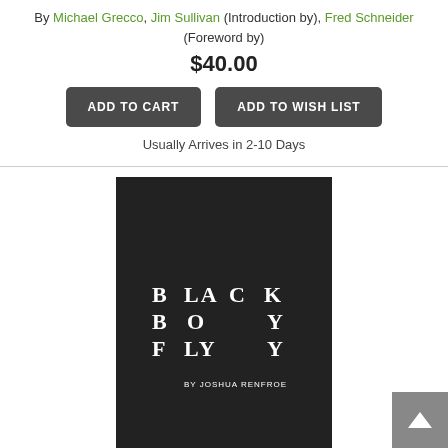By Michael Grecco, Jim Sullivan (Introduction by), Fred Schneider (Foreword by)
$40.00
ADD TO CART
ADD TO WISH LIST
Usually Arrives in 2-10 Days
[Figure (photo): Book cover of Black Boy Fly (2nd Edition) showing text arranged in a grid on a dark background]
Black Boy Fly (2nd Edition) (Hardcover)
By Joshua Renfroe
$70.00
ADD TO CART
ADD TO WISH LIST
Temporarily Unavailable - Backordered